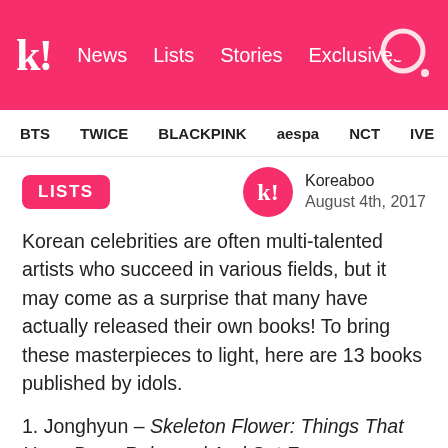k! News Lists Stories Exclusives
BTS TWICE BLACKPINK aespa NCT IVE SHIN
LISTS
Koreaboo August 4th, 2017
Korean celebrities are often multi-talented artists who succeed in various fields, but it may come as a surprise that many have actually released their own books! To bring these masterpieces to light, here are 13 books published by idols.
1. Jonghyun – Skeleton Flower: Things That Have Been Released And Set Free
Talented singer-songwriter SHINee's